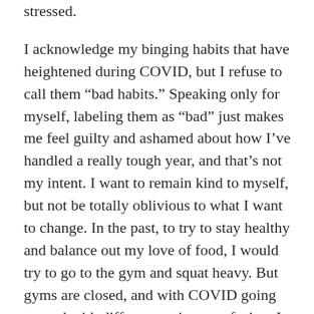stressed.
I acknowledge my binging habits that have heightened during COVID, but I refuse to call them “bad habits.” Speaking only for myself, labeling them as “bad” just makes me feel guilty and ashamed about how I’ve handled a really tough year, and that’s not my intent. I want to remain kind to myself, but not be totally oblivious to what I want to change. In the past, to try to stay healthy and balance out my love of food, I would try to go to the gym and squat heavy. But gyms are closed, and with COVID going around with different variants surfacing, I found myself not going out as much. Basically my only form of exercise was walking to the grocery store and hiking once a week. I had to come to the realization that I would get winded doing simple tasks, and I have gotten too